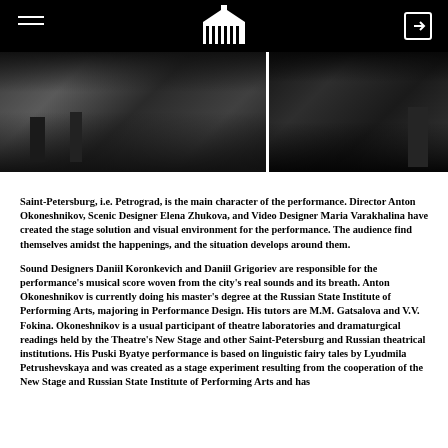[Theatre logo header with hamburger menu and login icon]
[Figure (photo): Two black-and-white photos from a theatre performance side by side; left photo shows stage with figures, right photo shows a darker scene with a person and equipment]
Saint-Petersburg, i.e. Petrograd, is the main character of the performance. Director Anton Okoneshnikov, Scenic Designer Elena Zhukova, and Video Designer Maria Varakhalina have created the stage solution and visual environment for the performance. The audience find themselves amidst the happenings, and the situation develops around them.
Sound Designers Daniil Koronkevich and Daniil Grigoriev are responsible for the performance's musical score woven from the city's real sounds and its breath. Anton Okoneshnikov is currently doing his master's degree at the Russian State Institute of Performing Arts, majoring in Performance Design. His tutors are M.M. Gatsalova and V.V. Fokina. Okoneshnikov is a usual participant of theatre laboratories and dramaturgical readings held by the Theatre's New Stage and other Saint-Petersburg and Russian theatrical institutions. His Puski Byatye performance is based on linguistic fairy tales by Lyudmila Petrushevskaya and was created as a stage experiment resulting from the cooperation of the New Stage and Russian State Institute of Performing Arts and has